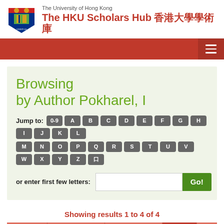The University of Hong Kong
The HKU Scholars Hub 香港大學學術庫
Browsing by Author Pokharel, I
Jump to: 0-9 A B C D E F G H I J K L M N O P Q R S T U V W X Y Z 口
or enter first few letters:
Showing results 1 to 4 of 4
|  |  |  | Issue Date |  |
| --- | --- | --- | --- | --- |